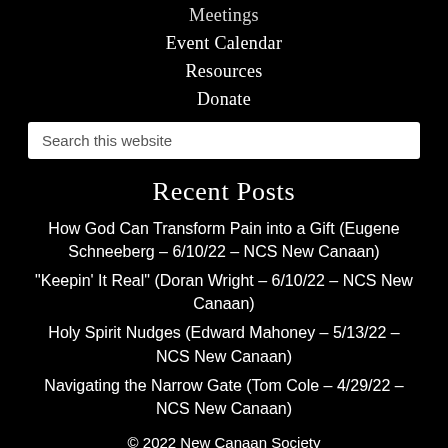Meetings
Event Calendar
Resources
Donate
Search this website
Recent Posts
How God Can Transform Pain into a Gift (Eugene Schneeberg – 6/10/22 – NCS New Canaan)
“Keepin’ It Real” (Doran Wright – 6/10/22 – NCS New Canaan)
Holy Spirit Nudges (Edward Mahoney – 5/13/22 – NCS New Canaan)
Navigating the Narrow Gate (Tom Cole – 4/29/22 – NCS New Canaan)
© 2022 New Canaan Society